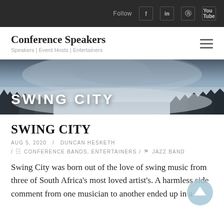Follow | f | in | Pinterest | YouTube
Conference Speakers
Speakers | Event Hosts | Entertainers
[Figure (illustration): Hero banner with misty forest/mountain landscape in grayscale-blue tones and large white bold text reading SWING CITY]
SWING CITY
AUG 5, 2020  /  DUNCAN HESKETH
/ CONFERENCE BANDS, ENTERTAINERS / JAZZ BAND
Swing City was born out of the love of swing music from three of South Africa's most loved artist's. A harmless side comment from one musician to another ended up in a